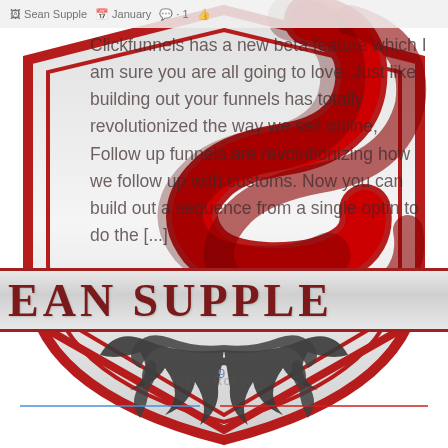Sean Supple · January · 1
Clickfunnels has a new beta feature which I am sure you are all going to love. Just like building out your funnels has totally revolutionized the way we sell online, Follow up funnels are revolutionizing how we follow up with customs. Now you can build out a sequence from a single optin to do the [...
[Figure (logo): Sean Supple branded shield logo with large red stylized 'S' letterform on a gray/white shield, red border, decorative dark tribal/wing design at bottom, and 'EAN SUPPLE' text banner across the middle]
9
Justin Roberts...